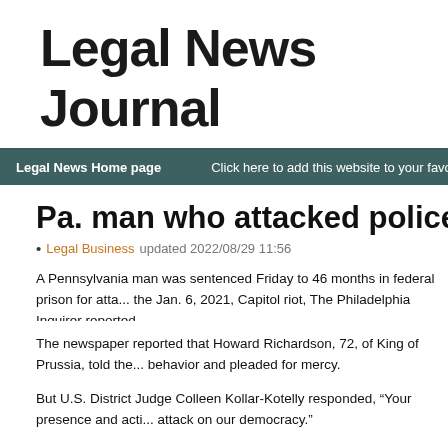Legal News Journal
Legal News Home page    Click here to add this website to your favorites
Pa. man who attacked police on Jan. 6
• Legal Business   updated 2022/08/29 11:56
A Pennsylvania man was sentenced Friday to 46 months in federal prison for attacking police during the Jan. 6, 2021, Capitol riot, The Philadelphia Inquirer reported.
The newspaper reported that Howard Richardson, 72, of King of Prussia, told the judge about his behavior and pleaded for mercy.
But U.S. District Judge Colleen Kollar-Kotelly responded, "Your presence and actions were an attack on our democracy."
Richardson's sentence is one of the longest yet among those who have been prosecuted for the certification of President Joe Biden's 2020 election victory. In addition to the nearly four years, he will serve three years under court supervision after his release and to pay $2,000 in restitution.